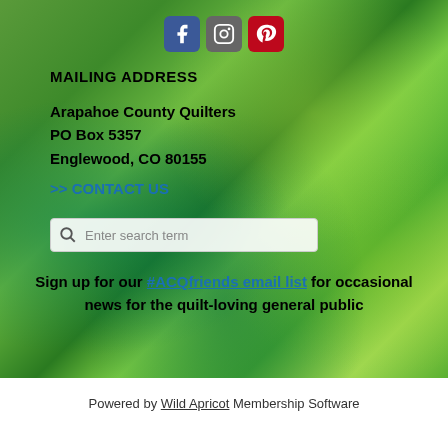[Figure (other): Three social media icon buttons: Facebook (blue), Instagram (grey), Pinterest (red)]
MAILING ADDRESS
Arapahoe County Quilters
PO Box 5357
Englewood, CO 80155
>> CONTACT US
Enter search term
Sign up for our #ACQfriends email list for occasional news for the quilt-loving general public
Powered by Wild Apricot Membership Software